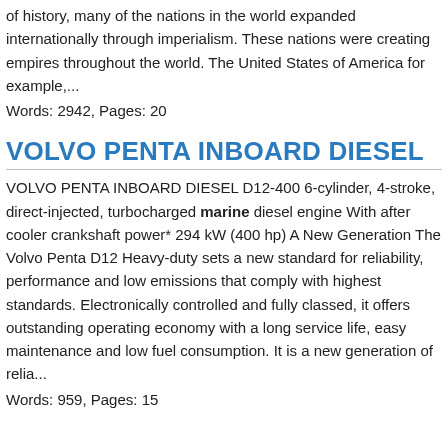of history, many of the nations in the world expanded internationally through imperialism. These nations were creating empires throughout the world. The United States of America for example,...
Words: 2942, Pages: 20
VOLVO PENTA INBOARD DIESEL
VOLVO PENTA INBOARD DIESEL D12-400 6-cylinder, 4-stroke, direct-injected, turbocharged marine diesel engine With after cooler crankshaft power* 294 kW (400 hp) A New Generation The Volvo Penta D12 Heavy-duty sets a new standard for reliability, performance and low emissions that comply with highest standards. Electronically controlled and fully classed, it offers outstanding operating economy with a long service life, easy maintenance and low fuel consumption. It is a new generation of relia...
Words: 959, Pages: 15